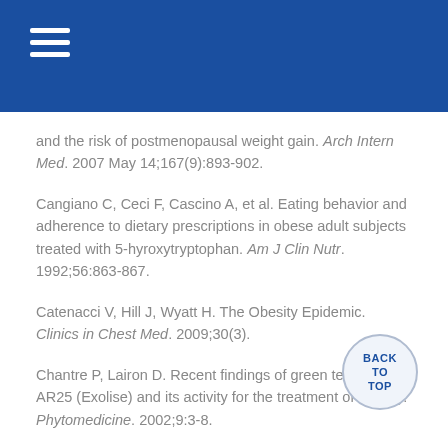and the risk of postmenopausal weight gain. Arch Intern Med. 2007 May 14;167(9):893-902.
Cangiano C, Ceci F, Cascino A, et al. Eating behavior and adherence to dietary prescriptions in obese adult subjects treated with 5-hyroxytryptophan. Am J Clin Nutr. 1992;56:863-867.
Catenacci V, Hill J, Wyatt H. The Obesity Epidemic. Clinics in Chest Med. 2009;30(3).
Chantre P, Lairon D. Recent findings of green tea extract AR25 (Exolise) and its activity for the treatment of obesity. Phytomedicine. 2002;9:3-8.